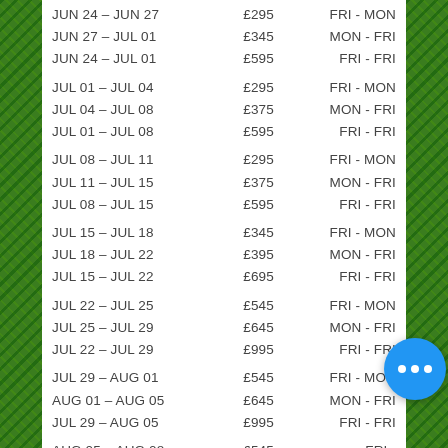| Date Range | Price | Days |
| --- | --- | --- |
| JUN 24 – JUN 27 | £295 | FRI - MON |
| JUN 27 – JUL 01 | £345 | MON - FRI |
| JUN 24 – JUL 01 | £595 | FRI - FRI |
| JUL 01 – JUL 04 | £295 | FRI - MON |
| JUL 04 – JUL 08 | £375 | MON - FRI |
| JUL 01 – JUL 08 | £595 | FRI - FRI |
| JUL 08 – JUL 11 | £295 | FRI - MON |
| JUL 11 – JUL 15 | £375 | MON - FRI |
| JUL 08 – JUL 15 | £595 | FRI - FRI |
| JUL 15 – JUL 18 | £345 | FRI - MON |
| JUL 18 – JUL 22 | £395 | MON - FRI |
| JUL 15 – JUL 22 | £695 | FRI - FRI |
| JUL 22 – JUL 25 | £545 | FRI - MON |
| JUL 25 – JUL 29 | £645 | MON - FRI |
| JUL 22 – JUL 29 | £995 | FRI - FRI |
| JUL 29 – AUG 01 | £545 | FRI - MON |
| AUG 01 – AUG 05 | £645 | MON - FRI |
| JUL 29 – AUG 05 | £995 | FRI - FRI |
| AUG 05 – AUG 08 | £545 | FRI - MON |
| AUG 08 – AUG 12 | £645 | MON - FRI |
| AUG 05 – AUG 12 | £995 | FRI - FRI |